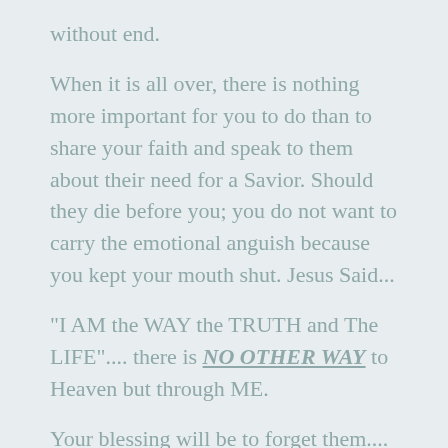without end.
When it is all over, there is nothing more important for you to do than to share your faith and speak to them about their need for a Savior. Should they die before you; you do not want to carry the emotional anguish because you kept your mouth shut. Jesus Said...
“I AM the WAY the TRUTH and The LIFE”.... there is NO OTHER WAY to Heaven but through ME.
Your blessing will be to forget them.... they